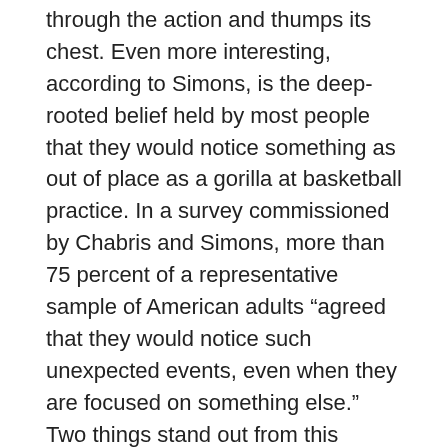through the action and thumps its chest. Even more interesting, according to Simons, is the deep-rooted belief held by most people that they would notice something as out of place as a gorilla at basketball practice. In a survey commissioned by Chabris and Simons, more than 75 percent of a representative sample of American adults “agreed that they would notice such unexpected events, even when they are focused on something else.” Two things stand out from this experiment: people miss a lot of what goes on around them and they often have no idea that they are missing so much. They don’t know that they don’t know.
Another experiment by Chabris and Simon involved groups of people working together to solve a math problem.  Instead of deferring to the person with the greatest math knowledge,